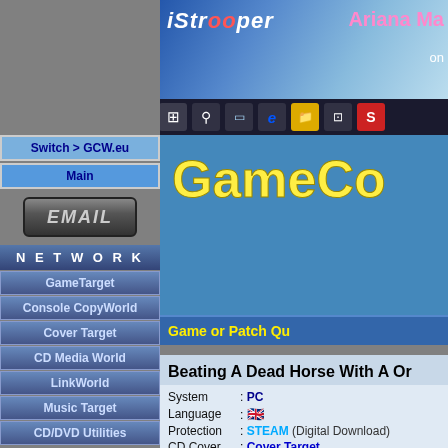[Figure (screenshot): Banner advertisement for iStripper featuring Ariana Ma, with Windows taskbar icons below]
Switch > GCW.eu
Main
[Figure (other): EMAIL button graphic]
N E T W O R K
GameTarget
Console CopyWorld
Cover Target
CD Media World
LinkWorld
Music Target
CD/DVD Utilities
[Figure (logo): LinkWorld GAMES logo]
[Figure (logo): GameCopyWorld logo (partial, cropped)]
Game or Patch Qu
Beating A Dead Horse With A Or
| System | : | PC |
| Language | : | 🇬🇧 |
| Protection | : | STEAM (Digital Download) |
| CD Cover | : | Cover Target |